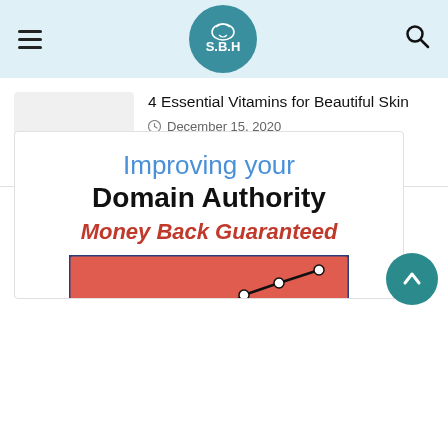S.B.H logo, hamburger menu, search icon
4 Essential Vitamins for Beautiful Skin
December 15, 2020
Skymovieshd – Download Free Bollywood, Sky Movies, Hollywood Movies.
April 11, 2021
[Figure (infographic): Improving your Domain Authority – Money Back Guaranteed. Shows a line chart on a red/salmon background with an upward trend, white dots as data points.]